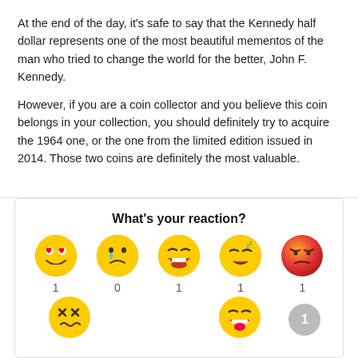At the end of the day, it's safe to say that the Kennedy half dollar represents one of the most beautiful mementos of the man who tried to change the world for the better, John F. Kennedy.
However, if you are a coin collector and you believe this coin belongs in your collection, you should definitely try to acquire the 1964 one, or the one from the limited edition issued in 2014. Those two coins are definitely the most valuable.
What's your reaction?
[Figure (infographic): Reaction emojis row 1: love (1), sad (0), laugh (1), sleepy (1), angry (1). Row 2: dizzy emoji, laughing emoji, and a grey badge showing '1'.]